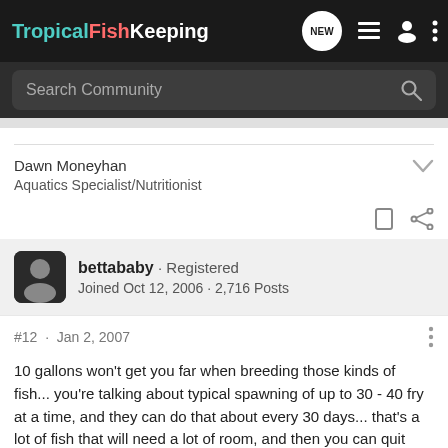TropicalFishKeeping
Search Community
Dawn Moneyhan
Aquatics Specialist/Nutritionist
bettababy · Registered
Joined Oct 12, 2006 · 2,716 Posts
#12 · Jan 2, 2007
10 gallons won't get you far when breeding those kinds of fish... you're talking about typical spawning of up to 30 - 40 fry at a time, and they can do that about every 30 days... that's a lot of fish that will need a lot of room, and then you can quit quickly...